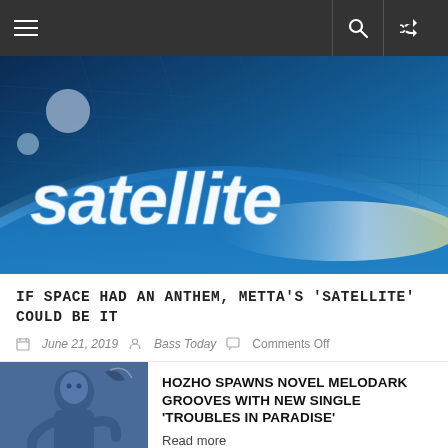Navigation bar with hamburger menu, search and shuffle icons
[Figure (illustration): Space-themed artwork showing Earth from orbit with the word 'satellite' written in large white italic letters across the image. Blue planet, grid lines, atmosphere glow visible.]
IF SPACE HAD AN ANTHEM, METTA'S 'SATELLITE' COULD BE IT
June 21, 2019  Bass Today  Comments Off
HOZHO SPAWNS NOVEL MELODARK GROOVES WITH NEW SINGLE 'TROUBLES IN PARADISE'
Read more